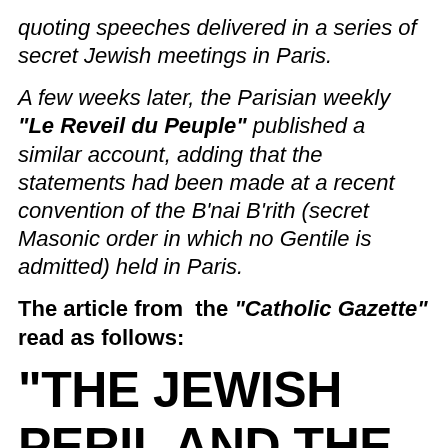quoting speeches delivered in a series of secret Jewish meetings in Paris.
A few weeks later, the Parisian weekly "Le Reveil du Peuple" published a similar account, adding that the statements had been made at a recent convention of the B'nai B'rith (secret Masonic order in which no Gentile is admitted) held in Paris.
The article from the "Catholic Gazette" read as follows:
"THE JEWISH PERIL AND THE CATHOLIC CHURCH"